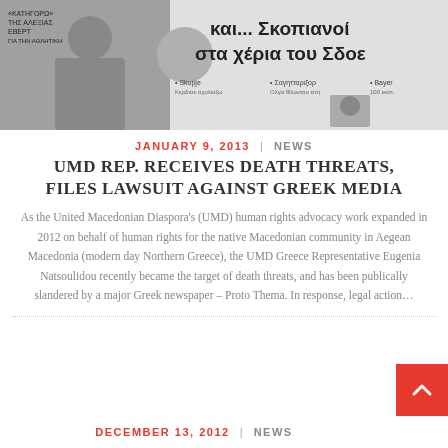[Figure (photo): Greek newspaper front page showing headlines in Greek with photos]
JANUARY 9, 2013  |  NEWS
UMD REP. RECEIVES DEATH THREATS, FILES LAWSUIT AGAINST GREEK MEDIA
As the United Macedonian Diaspora’s (UMD) human rights advocacy work expanded in 2012 on behalf of human rights for the native Macedonian community in Aegean Macedonia (modern day Northern Greece), the UMD Greece Representative Eugenia Natsoulidou recently became the target of death threats, and has been publically slandered by a major Greek newspaper – Proto Thema.  In response, legal action…
DECEMBER 13, 2012  |  NEWS